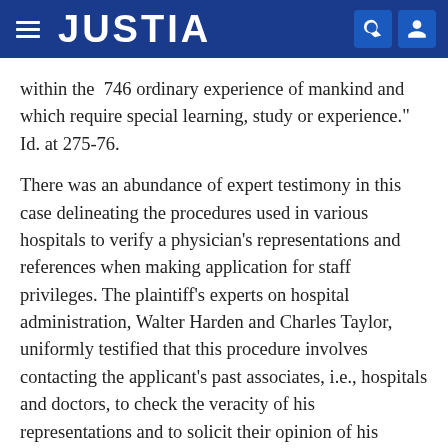JUSTIA
within the 746 ordinary experience of mankind and which require special learning, study or experience." Id. at 275-76.
There was an abundance of expert testimony in this case delineating the procedures used in various hospitals to verify a physician's representations and references when making application for staff privileges. The plaintiff's experts on hospital administration, Walter Harden and Charles Taylor, uniformly testified that this procedure involves contacting the applicant's past associates, i.e., hospitals and doctors, to check the veracity of his representations and to solicit their opinion of his qualifications for the privileges requested. Dr. Sam Neeseman testified that the four hospitals that granted staff privileges to him required, at a minimum, proof that he: (1) graduated from an accredited medical school; (2) completed his internship; (3) completed his